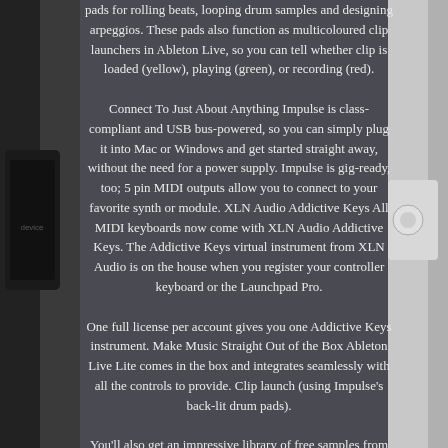pads for rolling beats, looping drum samples and designing arpeggios. These pads also function as multicoloured clip launchers in Ableton Live, so you can tell whether clip is loaded (yellow), playing (green), or recording (red).
Connect To Just About Anything Impulse is class-compliant and USB bus-powered, so you can simply plug it into Mac or Windows and get started straight away, without the need for a power supply. Impulse is gig-ready, too; 5 pin MIDI outputs allow you to connect to your favorite synth or module. XLN Audio Addictive Keys All MIDI keyboards now come with XLN Audio Addictive Keys. The Addictive Keys virtual instrument from XLN Audio is on the house when you register your controller keyboard or the Launchpad Pro.
One full license per account gives you one Addictive Keys instrument. Make Music Straight Out of the Box Ableton Live Lite comes in the box and integrates seamlessly with all the controls to provide. Clip launch (using Impulse's back-lit drum pads).
You'll also get an impressive library of free samples from Loopmasters, as well as our Bass Station software plug-in, which recreates the sound of the legendary analogue bass synthesizer. Impulse also gives you instant hands-on control of other major music software, including. Pro Tools: Mixer control (all channels), Transport control.
Logic: Mixer control (all channels), Transport control, Plug-in instrument/effects control (instant control of Logic's own plug-ins and 3rd party VST/AU plug-ins). Cubase: Mixer control (all